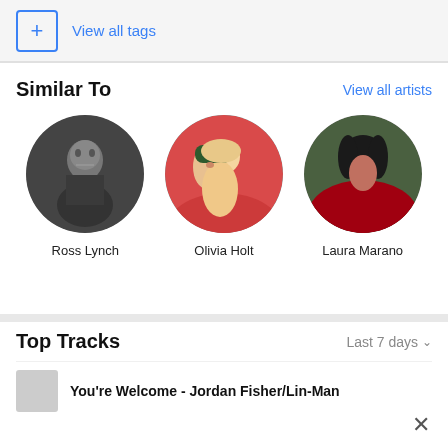+ View all tags
Similar To
View all artists
[Figure (photo): Circular photo of Ross Lynch, black and white, shirtless male pose]
Ross Lynch
[Figure (photo): Circular photo of Olivia Holt, blonde woman with red background and dark headband]
Olivia Holt
[Figure (photo): Circular photo of Laura Marano, dark-haired woman in red dress in outdoor landscape]
Laura Marano
Top Tracks
Last 7 days
You're Welcome - Jordan Fisher/Lin-Man